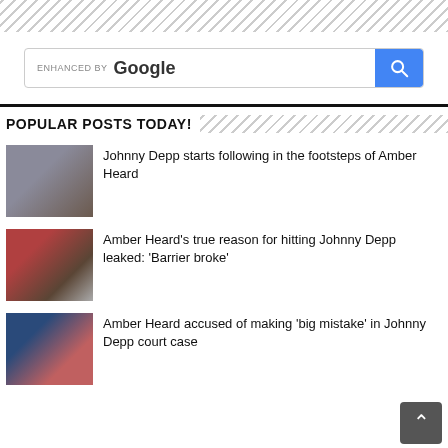[Figure (screenshot): Google enhanced search bar with blue search button]
POPULAR POSTS TODAY!
[Figure (photo): Two people in courtroom setting, one in grey suit, one with bun hairstyle]
Johnny Depp starts following in the footsteps of Amber Heard
[Figure (photo): Amber Heard and Johnny Depp at an event, red dress and suit]
Amber Heard's true reason for hitting Johnny Depp leaked: 'Barrier broke'
[Figure (photo): Johnny Depp and Amber Heard in court]
Amber Heard accused of making 'big mistake' in Johnny Depp court case